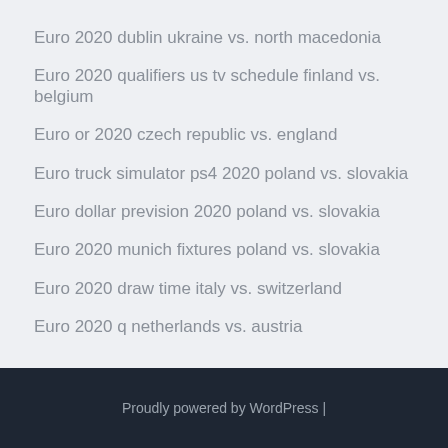Euro 2020 dublin ukraine vs. north macedonia
Euro 2020 qualifiers us tv schedule finland vs. belgium
Euro or 2020 czech republic vs. england
Euro truck simulator ps4 2020 poland vs. slovakia
Euro dollar prevision 2020 poland vs. slovakia
Euro 2020 munich fixtures poland vs. slovakia
Euro 2020 draw time italy vs. switzerland
Euro 2020 q netherlands vs. austria
Proudly powered by WordPress |